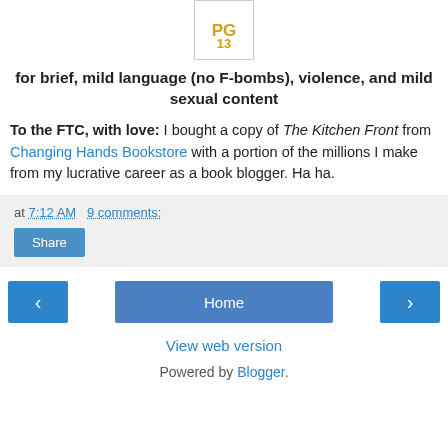[Figure (logo): PG-13 rating badge in yellow/gold with the number 13]
for brief, mild language (no F-bombs), violence, and mild sexual content
To the FTC, with love: I bought a copy of The Kitchen Front from Changing Hands Bookstore with a portion of the millions I make from my lucrative career as a book blogger. Ha ha.
at 7:12 AM   9 comments:
Share
‹  Home  ›
View web version
Powered by Blogger.